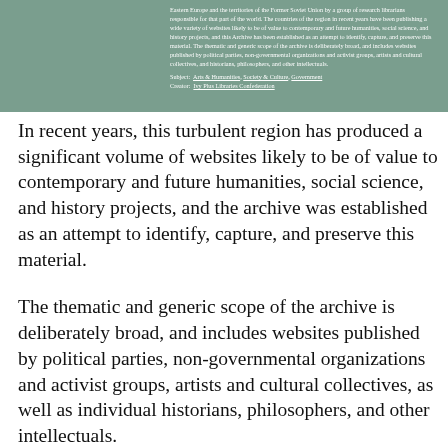Eastern Europe and the territories of the Former Soviet Union by a group of research librarians responsible for that part of the world. The countries of the region in recent years have been publishing a wide variety of websites likely to be of value to contemporary and future humanities, social science, and history projects, and this Archive has been established as an attempt to identify, capture, and preserve this material. The thematic and generic scope of the archive is deliberately broad, and includes websites published by political parties, non-governmental organizations and activist groups, artists and cultural collectives, and historians, philosophers, and other intellectuals. Subject: Arts & Humanities, Society & Culture, Government Creator: Ivy Plus Libraries Confederation
In recent years, this turbulent region has produced a significant volume of websites likely to be of value to contemporary and future humanities, social science, and history projects, and the archive was established as an attempt to identify, capture, and preserve this material.
The thematic and generic scope of the archive is deliberately broad, and includes websites published by political parties, non-governmental organizations and activist groups, artists and cultural collectives, as well as individual historians, philosophers, and other intellectuals.